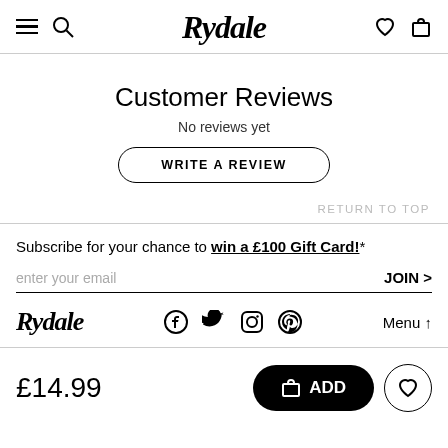Rydale — navigation header with menu, search, logo, wishlist, bag
Customer Reviews
No reviews yet
WRITE A REVIEW
RETURN TO TOP
Subscribe for your chance to win a £100 Gift Card!*
enter your email
JOIN >
Rydale logo, social icons (Facebook, Twitter, Instagram, Pinterest), Menu ↑
£14.99
ADD
❤